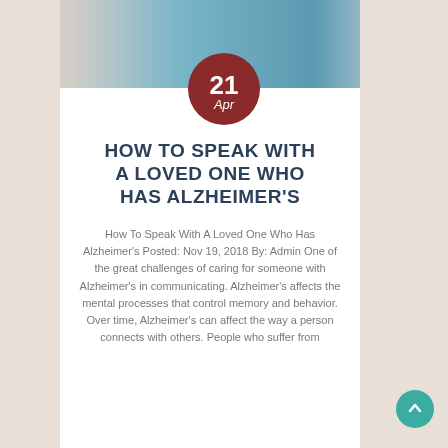[Figure (photo): Photo of two people, one in a white coat and one in blue scrubs with a stethoscope, partially visible behind a white card overlay]
HOW TO SPEAK WITH A LOVED ONE WHO HAS ALZHEIMER'S
How To Speak With A Loved One Who Has Alzheimer's Posted: Nov 19, 2018 By: Admin One of the great challenges of caring for someone with Alzheimer's in communicating. Alzheimer's affects the mental processes that control memory and behavior. Over time, Alzheimer's can affect the way a person connects with others. People who suffer from